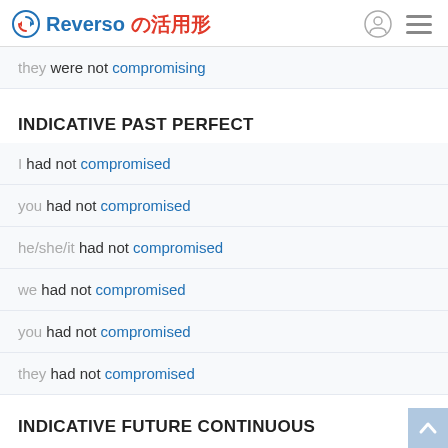Reverso の活用形
they were not compromising
INDICATIVE PAST PERFECT
I had not compromised
you had not compromised
he/she/it had not compromised
we had not compromised
you had not compromised
they had not compromised
INDICATIVE FUTURE CONTINUOUS